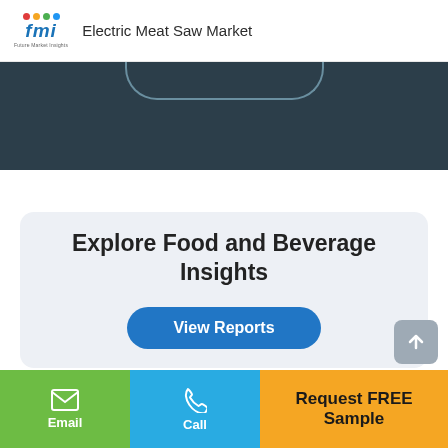Electric Meat Saw Market
[Figure (other): Dark teal/slate banner section with a rounded button outline at top center]
Explore Food and Beverage Insights
View Reports
Email  Call  Request FREE Sample